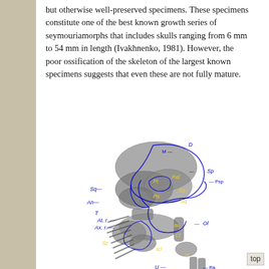but otherwise well-preserved specimens. These specimens constitute one of the best known growth series of seymouriamorphs that includes skulls ranging from 6 mm to 54 mm in length (Ivakhnenko, 1981). However, the poor ossification of the skeleton of the largest known specimens suggests that even these are not fully mature.
[Figure (illustration): Fossil skeleton specimen of a seymouriamorph with anatomical labels in blue and yellow. Labels include: D, M, Sp, Sq, Pt, Pal, Psp, Ec, Ps, Sq, An, T, At. r., Ax. r., Bc, Cl, Ol, Sc, Icl, H, U, Ra.]